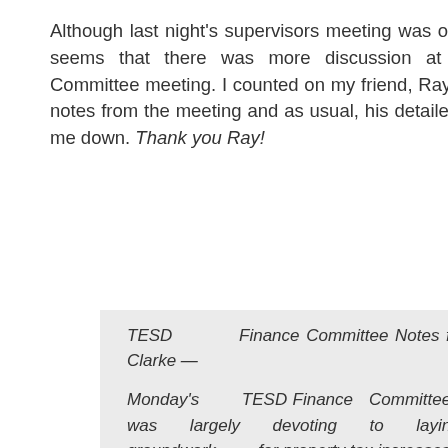Although last night's supervisors meeting was over by 8:15 PM, it seems that there was more discussion at TESD's Finance Committee meeting. I counted on my friend, Ray Clarke to provide notes from the meeting and as usual, his detailed notes did not let me down. Thank you Ray!
TESD Finance Committee Notes from Ray Clarke —
Monday's TESD Finance Committee meeting was largely devoting to laying the groundwork for property tax increases.